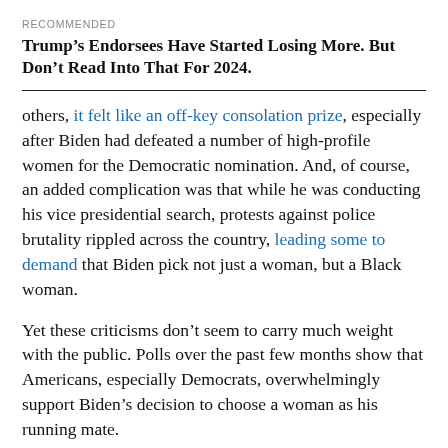RECOMMENDED
Trump’s Endorsees Have Started Losing More. But Don’t Read Into That For 2024.
others, it felt like an off-key consolation prize, especially after Biden had defeated a number of high-profile women for the Democratic nomination. And, of course, an added complication was that while he was conducting his vice presidential search, protests against police brutality rippled across the country, leading some to demand that Biden pick not just a woman, but a Black woman.
Yet these criticisms don’t seem to carry much weight with the public. Polls over the past few months show that Americans, especially Democrats, overwhelmingly support Biden’s decision to choose a woman as his running mate.
For instance, after Biden initially made the